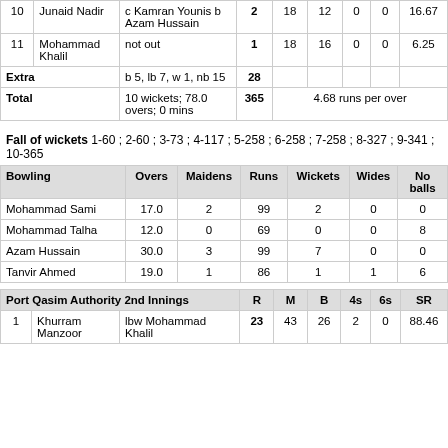| # | Batsman | Dismissal | R | M | B | 4s | 6s | SR |
| --- | --- | --- | --- | --- | --- | --- | --- | --- |
| 10 | Junaid Nadir | c Kamran Younis b Azam Hussain | 2 | 18 | 12 | 0 | 0 | 16.67 |
| 11 | Mohammad Khalil | not out | 1 | 18 | 16 | 0 | 0 | 6.25 |
| Extra |  | b 5, lb 7, w 1, nb 15 | 28 |  |  |  |  |  |
| Total |  | 10 wickets; 78.0 overs; 0 mins | 365 |  |  |  |  | 4.68 runs per over |
Fall of wickets 1-60 ; 2-60 ; 3-73 ; 4-117 ; 5-258 ; 6-258 ; 7-258 ; 8-327 ; 9-341 ; 10-365
| Bowling | Overs | Maidens | Runs | Wickets | Wides | No balls |
| --- | --- | --- | --- | --- | --- | --- |
| Mohammad Sami | 17.0 | 2 | 99 | 2 | 0 | 0 |
| Mohammad Talha | 12.0 | 0 | 69 | 0 | 0 | 8 |
| Azam Hussain | 30.0 | 3 | 99 | 7 | 0 | 0 |
| Tanvir Ahmed | 19.0 | 1 | 86 | 1 | 1 | 6 |
| Port Qasim Authority 2nd Innings |  | R | M | B | 4s | 6s | SR |
| --- | --- | --- | --- | --- | --- | --- | --- |
| 1 | Khurram Manzoor | lbw Mohammad Khalil | 23 | 43 | 26 | 2 | 0 | 88.46 |